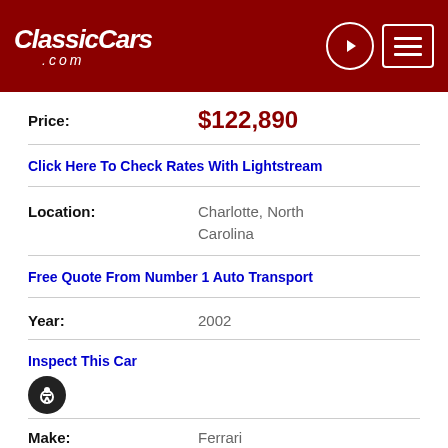ClassicCars.com
Price: $122,890
Click Here To Check Rates With Lightstream
Location: Charlotte, North Carolina
Free Quote From Number 1 Auto Transport
Year: 2002
Inspect This Car
Make: Ferrari
15% off Advance Auto Parts w/code CLASSICCARS